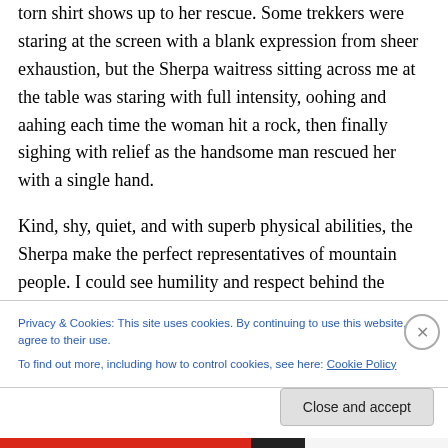torn shirt shows up to her rescue. Some trekkers were staring at the screen with a blank expression from sheer exhaustion, but the Sherpa waitress sitting across me at the table was staring with full intensity, oohing and aahing each time the woman hit a rock, then finally sighing with relief as the handsome man rescued her with a single hand.
Kind, shy, quiet, and with superb physical abilities, the Sherpa make the perfect representatives of mountain people. I could see humility and respect behind the strong jawlines and the sharp features with which they smiled
Privacy & Cookies: This site uses cookies. By continuing to use this website, you agree to their use.
To find out more, including how to control cookies, see here: Cookie Policy